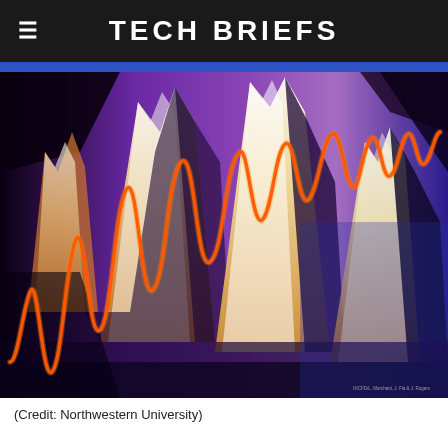Tech Briefs
[Figure (illustration): Scientific visualization from Northwestern University showing a 3D surface plot with an orange/red sinusoidal wave overlaid on a purple, white, and dark topographic surface. The wave starts with large amplitude oscillations on the left and transitions to smaller, higher-frequency waves on the right. Small watermark text reads: NICFD/L. Marchetti, J. Fla & J. Rogers]
(Credit: Northwestern University)